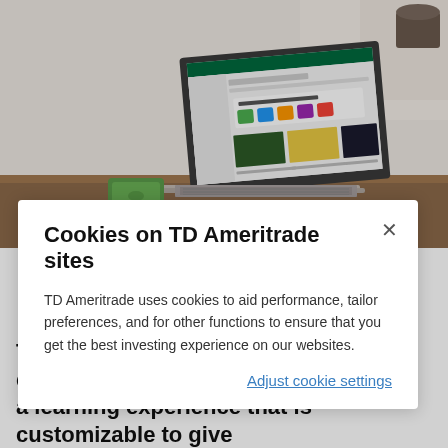[Figure (photo): Laptop computer on a wooden desk showing TD Ameritrade website interface, with a green portable hard drive in the background. Bright, airy room setting.]
Cookies on TD Ameritrade sites
TD Ameritrade uses cookies to aid performance, tailor preferences, and for other functions to ensure that you get the best investing experience on our websites.
Adjust cookie settings
There's no ROI on TMI. That's why we created a learning experience that is customizable to give